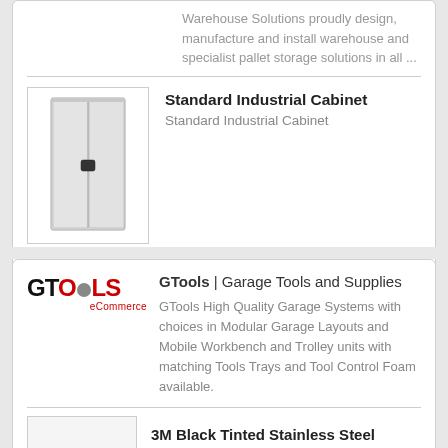Warehouse Solutions proudly design, manufacture and install warehouse and specialist pallet storage solutions in all ...
Standard Industrial Cabinet
Standard Industrial Cabinet
[Figure (photo): Photo of a standard grey industrial metal cabinet with two doors and a small black handle]
Message this supplier
[Figure (logo): GTools eCommerce logo in black and red]
GTools | Garage Tools and Supplies
GTools High Quality Garage Systems with choices in Modular Garage Layouts and Mobile Workbench and Trolley units with matching Tools Trays and Tool Control Foam available.
3M Black Tinted Stainless Steel